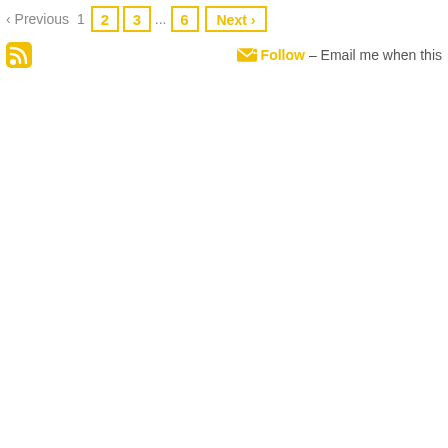‹ Previous  1  2  3  ...  6  Next ›
Follow – Email me when this